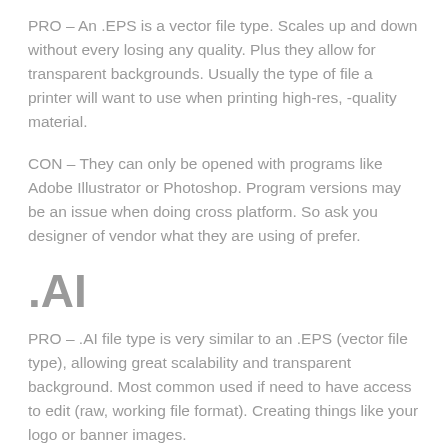PRO – An .EPS is a vector file type. Scales up and down without every losing any quality. Plus they allow for transparent backgrounds. Usually the type of file a printer will want to use when printing high-res, -quality material.
CON – They can only be opened with programs like Adobe Illustrator or Photoshop. Program versions may be an issue when doing cross platform. So ask you designer of vendor what they are using of prefer.
.AI
PRO – .AI file type is very similar to an .EPS (vector file type), allowing great scalability and transparent background. Most common used if need to have access to edit (raw, working file format). Creating things like your logo or banner images.
CON – They can only be opened with programs like Adobe